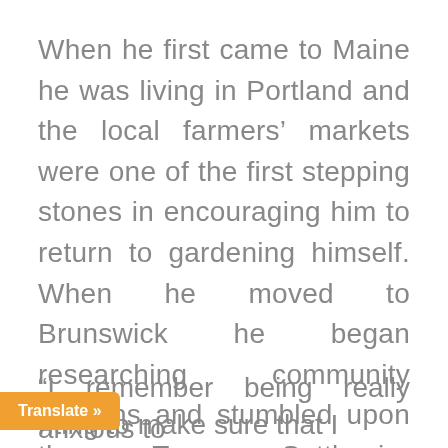When he first came to Maine he was living in Portland and the local farmers' markets were one of the first stepping stones in encouraging him to return to gardening himself. When he moved to Brunswick he began researching community gardens and stumbled upon the Tom Settlemire Community Garden, where he first started gardening last year.
“I remember being really anxious to ... nting to make sure that I